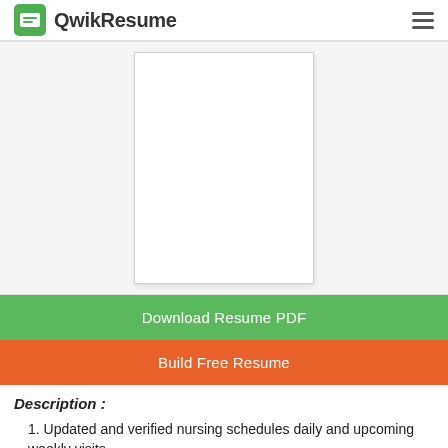QwikResume
[Figure (other): Blank white resume preview document]
Download Resume PDF
Build Free Resume
Description :
Updated and verified nursing schedules daily and upcoming weekly visits